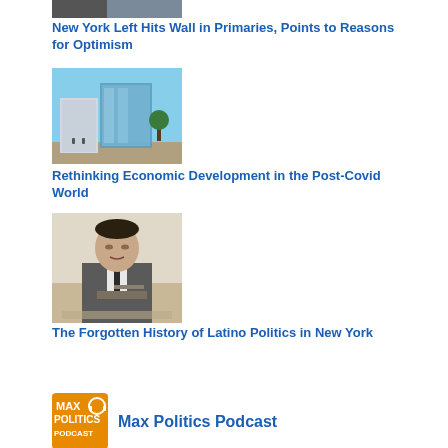[Figure (photo): Partial photo at top, cropped]
New York Left Hits Wall in Primaries, Points to Reasons for Optimism
[Figure (photo): Photo of a modern building with glass facade, outdoor plaza]
Rethinking Economic Development in the Post-Covid World
[Figure (photo): Black and white photo of a man writing at a desk]
The Forgotten History of Latino Politics in New York
[Figure (logo): Max Politics Podcast orange logo with headphones]
Max Politics Podcast